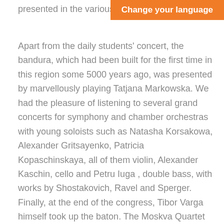presented in the various prog
Change your language
Apart from the daily students' concert, the bandura, which had been built for the first time in this region some 5000 years ago, was presented by marvellously playing Tatjana Markowska. We had the pleasure of listening to several grand concerts for symphony and chamber orchestras with young soloists such as Natasha Korsakowa, Alexander Gritsayenko, Patricia Kopaschinskaya, all of them violin, Alexander Kaschin, cello and Petru Iuga , double bass, with works by Shostakovich, Ravel and Sperger. Finally, at the end of the congress, Tibor Varga himself took up the baton. The Moskva Quartet with Siegfried Palm on the other cello gave an evening chamber music concert, and we were familiarised with Ukrainian music, which is not so dissimilar from the Greek one.